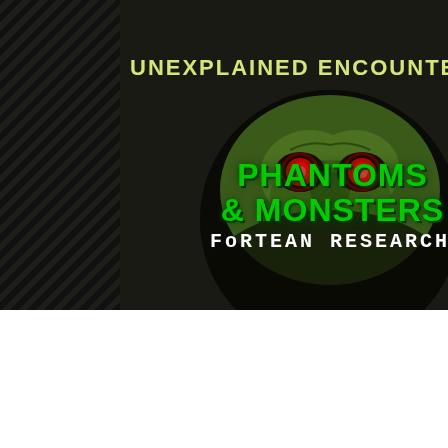UNEXPLAINED ENCOUNTER OR SIG
[Figure (logo): Circular logo showing a green monster face with glowing red eyes, with text 'PHANTOMS & MONSTERS' in green and 'FORTEAN RESEARCH' in white below]